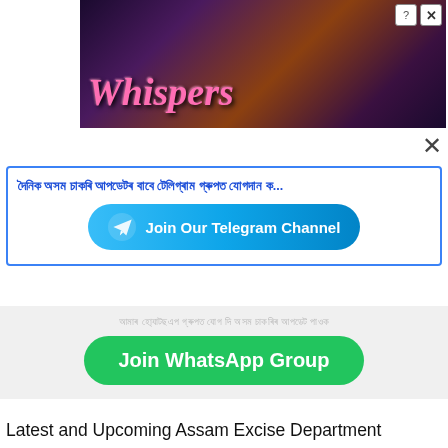[Figure (screenshot): Whispers app advertisement banner with romantic imagery and the Whispers logo text]
[Figure (screenshot): Close X button for the ad]
দৈনিক অসম চাকৰি আপডেটৰ বাবে টেলিগ্ৰাম গ্ৰুপত যোগদান ক...
[Figure (screenshot): Join Our Telegram Channel button with Telegram icon]
আমাৰ হো্যাটছএপ গ্ৰুপত যোগ দি অসম চাকৰিৰ আপডেট পাওক।
[Figure (screenshot): Join WhatsApp Group green button]
Latest and Upcoming Assam Excise Department recruitment notifications and job vacancies list below. Freshers and Experienced aspirants search for the details like eligibility criteria, application fee, and selection process, how to apply, and other information. Interested and eligible candidates may